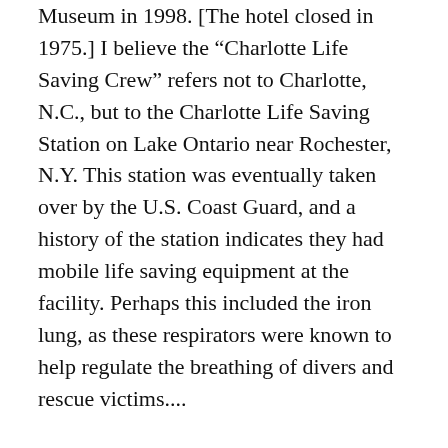Museum in 1998. [The hotel closed in 1975.] I believe the “Charlotte Life Saving Crew” refers not to Charlotte, N.C., but to the Charlotte Life Saving Station on Lake Ontario near Rochester, N.Y. This station was eventually taken over by the U.S. Coast Guard, and a history of the station indicates they had mobile life saving equipment at the facility. Perhaps this included the iron lung, as these respirators were known to help regulate the breathing of divers and rescue victims....
“Hand-written notes made on adhesive bandages on the exterior of the iron lung lead me to think it might have been used in a hospital setting at some point. [One message reads], ‘Please leave the light off at all times